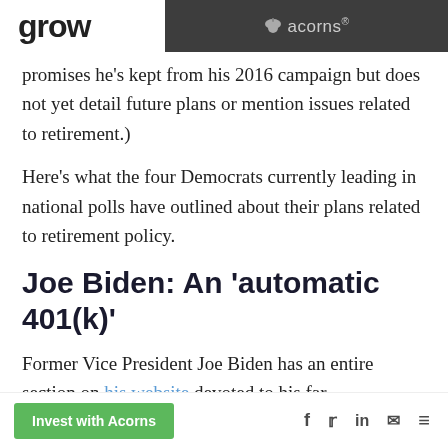grow | acorns®
promises he's kept from his 2016 campaign but does not yet detail future plans or mention issues related to retirement.)
Here's what the four Democrats currently leading in national polls have outlined about their plans related to retirement policy.
Joe Biden: An 'automatic 401(k)'
Former Vice President Joe Biden has an entire section on his website devoted to his far-
Invest with Acorns